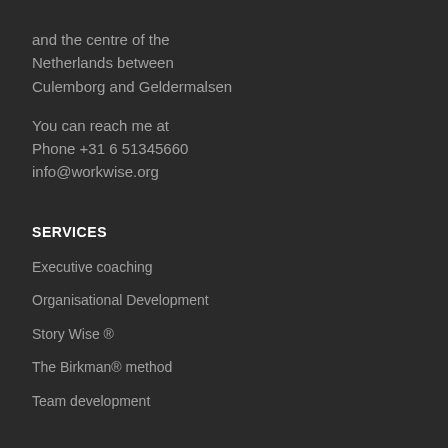and the centre of the Netherlands between Culemborg and Geldermalsen
You can reach me at
Phone +31 6 51345660
info@workwise.org
SERVICES
Executive coaching
Organisational Development
Story Wise ®
The Birkman® method
Team development